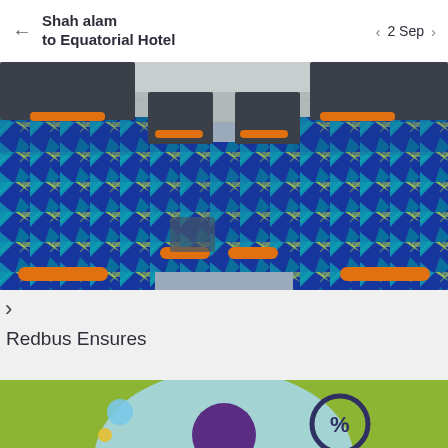Shah alam to Equatorial Hotel  ← | 2 Sep ‹ ›
[Figure (photo): Interior of a bus showing rows of blue and green patterned seats with orange armrests and handles, viewed down the aisle]
>
Redbus Ensures
[Figure (illustration): Illustration on green background showing a cartoon person with a percentage/discount badge circle and light blue bubble shapes]